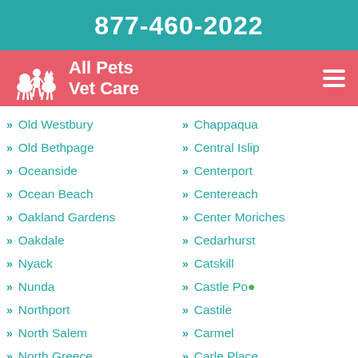877-460-2022
[Figure (logo): All Pets Vet Care logo with animal silhouettes on pink/red background]
Old Westbury
Old Bethpage
Oceanside
Ocean Beach
Oakland Gardens
Oakdale
Nyack
Nunda
Northport
North Salem
North Greece
North Chili
North Babylon
Chappaqua
Central Islip
Centerport
Centereach
Center Moriches
Cedarhurst
Catskill
Castle Point
Castile
Carmel
Carle Place
Canaseraga
Cambria Heights